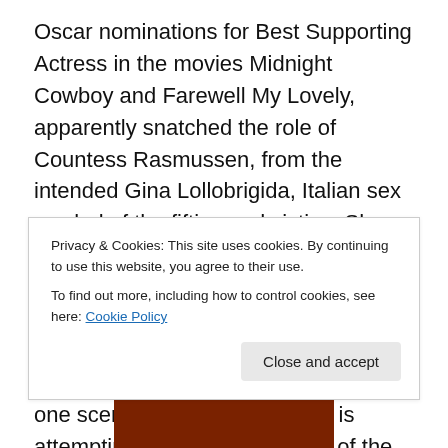Oscar nominations for Best Supporting Actress in the movies Midnight Cowboy and Farewell My Lovely, apparently snatched the role of Countess Rasmussen, from the intended Gina Lollobrigida, Italian sex symbol of the fifties and sixties. She plays a far fetched trapeze artist-master thief, who seems to have a love for doing an over excessive amount of somersaults and cart wheels that's really ever necessary. In one scene where the countess is attempting a break in and theft of the Shalimar jewel, one of Burman's big jazz tracks Countess' Caper, plays over the top, doing it's best to add drama, but really
Privacy & Cookies: This site uses cookies. By continuing to use this website, you agree to their use.
To find out more, including how to control cookies, see here: Cookie Policy
[Figure (photo): Partial image at the bottom of the page, appears to show a person, dark reddish-brown tones]